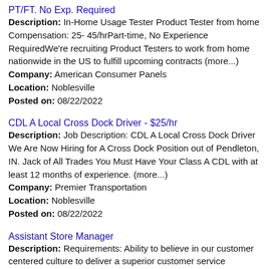PT/FT. No Exp. Required
Description: In-Home Usage Tester Product Tester from home Compensation: 25- 45/hrPart-time, No Experience RequiredWe're recruiting Product Testers to work from home nationwide in the US to fulfill upcoming contracts (more...)
Company: American Consumer Panels
Location: Noblesville
Posted on: 08/22/2022
CDL A Local Cross Dock Driver - $25/hr
Description: Job Description: CDL A Local Cross Dock Driver We Are Now Hiring for A Cross Dock Position out of Pendleton, IN. Jack of All Trades You Must Have Your Class A CDL with at least 12 months of experience. (more...)
Company: Premier Transportation
Location: Noblesville
Posted on: 08/22/2022
Assistant Store Manager
Description: Requirements: Ability to believe in our customer centered culture to deliver a superior customer service experience. , Description:The Assistant Store Manager assists with the daily operations of the (more...)
Company: Shoe Carnival